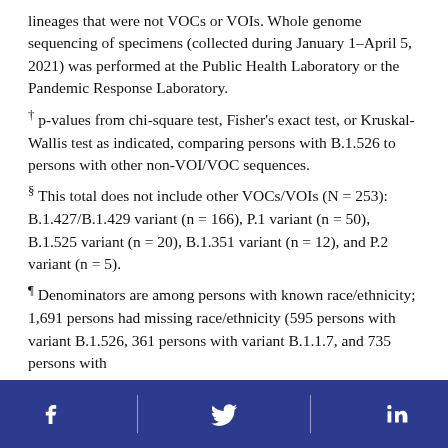lineages that were not VOCs or VOIs. Whole genome sequencing of specimens (collected during January 1–April 5, 2021) was performed at the Public Health Laboratory or the Pandemic Response Laboratory.
† p-values from chi-square test, Fisher's exact test, or Kruskal-Wallis test as indicated, comparing persons with B.1.526 to persons with other non-VOI/VOC sequences.
§ This total does not include other VOCs/VOIs (N = 253): B.1.427/B.1.429 variant (n = 166), P.1 variant (n = 50), B.1.525 variant (n = 20), B.1.351 variant (n = 12), and P.2 variant (n = 5).
¶ Denominators are among persons with known race/ethnicity; 1,691 persons had missing race/ethnicity (595 persons with variant B.1.526, 361 persons with variant B.1.1.7, and 735 persons with
[Facebook] [Twitter] [LinkedIn]